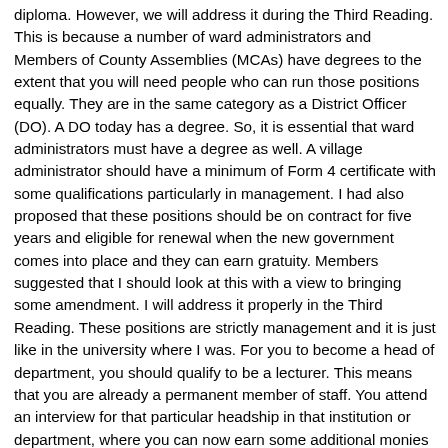diploma. However, we will address it during the Third Reading. This is because a number of ward administrators and Members of County Assemblies (MCAs) have degrees to the extent that you will need people who can run those positions equally. They are in the same category as a District Officer (DO). A DO today has a degree. So, it is essential that ward administrators must have a degree as well. A village administrator should have a minimum of Form 4 certificate with some qualifications particularly in management. I had also proposed that these positions should be on contract for five years and eligible for renewal when the new government comes into place and they can earn gratuity. Members suggested that I should look at this with a view to bringing some amendment. I will address it properly in the Third Reading. These positions are strictly management and it is just like in the university where I was. For you to become a head of department, you should qualify to be a lecturer. This means that you are already a permanent member of staff. You attend an interview for that particular headship in that institution or department, where you can now earn some additional monies for the privilege to sit in that position. We may have to address it in that context. Even as dean of a university, you are not permanently there. If your term ends, you go back to your old position. This is the direction that I am going to move as we will be seeking to amend this so that the people currently in those